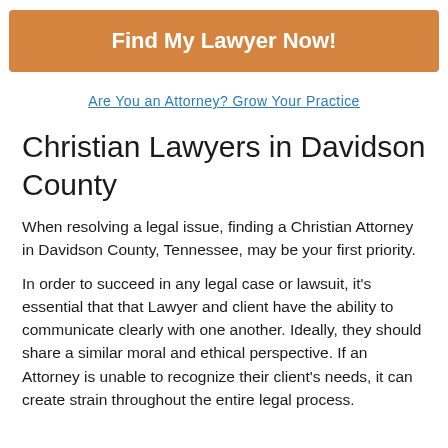Find My Lawyer Now!
Are You an Attorney? Grow Your Practice
Christian Lawyers in Davidson County
When resolving a legal issue, finding a Christian Attorney in Davidson County, Tennessee, may be your first priority.
In order to succeed in any legal case or lawsuit, it's essential that that Lawyer and client have the ability to communicate clearly with one another. Ideally, they should share a similar moral and ethical perspective. If an Attorney is unable to recognize their client's needs, it can create strain throughout the entire legal process.